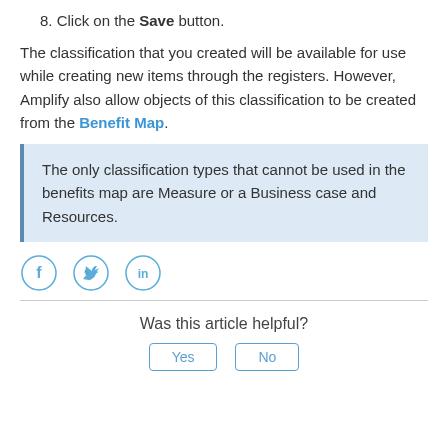8. Click on the Save button.
The classification that you created will be available for use while creating new items through the registers. However, Amplify also allow objects of this classification to be created from the Benefit Map.
The only classification types that cannot be used in the benefits map are Measure or a Business case and Resources.
[Figure (other): Social media share icons: Facebook, Twitter, LinkedIn in circular outlines with light blue color]
Was this article helpful?